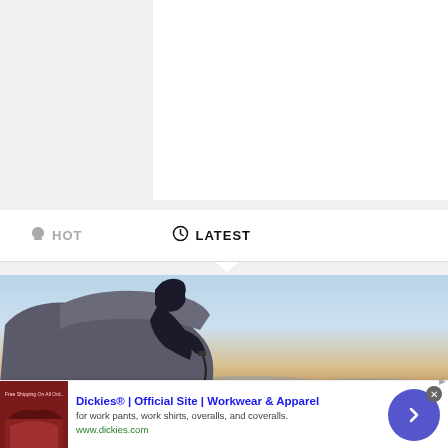[Figure (screenshot): White content box on grey background, top portion of a webpage]
HOT   LATEST
[Figure (photo): Person climbing on a large office chair placed in a desert landscape with blue sky]
[Figure (screenshot): Advertisement banner for Dickies workwear with logo thumbnail, title, description and arrow button]